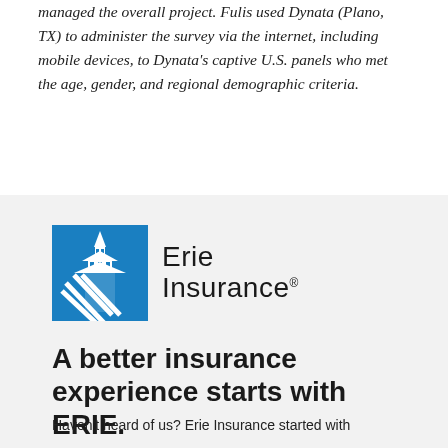managed the overall project. Fulis used Dynata (Plano, TX) to administer the survey via the internet, including mobile devices, to Dynata's captive U.S. panels who met the age, gender, and regional demographic criteria.
[Figure (logo): Erie Insurance logo with blue building/steeple icon and 'Erie Insurance' wordmark in dark text]
A better insurance experience starts with ERIE.
Haven't heard of us? Erie Insurance started with